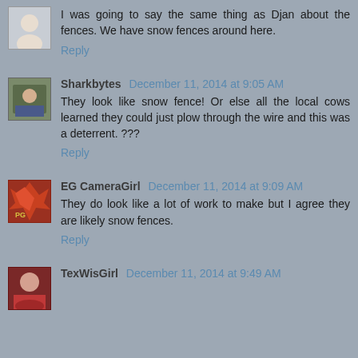I was going to say the same thing as Djan about the fences. We have snow fences around here.
Reply
Sharkbytes  December 11, 2014 at 9:05 AM
They look like snow fence! Or else all the local cows learned they could just plow through the wire and this was a deterrent. ???
Reply
EG CameraGirl  December 11, 2014 at 9:09 AM
They do look like a lot of work to make but I agree they are likely snow fences.
Reply
TexWisGirl  December 11, 2014 at 9:49 AM